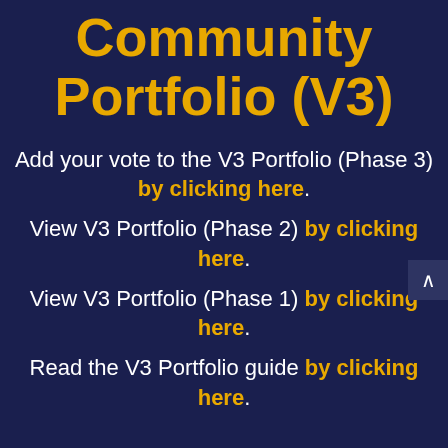Community Portfolio (V3)
Add your vote to the V3 Portfolio (Phase 3) by clicking here.
View V3 Portfolio (Phase 2) by clicking here.
View V3 Portfolio (Phase 1) by clicking here.
Read the V3 Portfolio guide by clicking here.